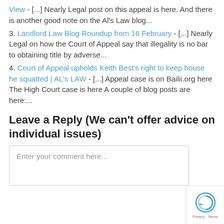View - [...] Nearly Legal post on this appeal is here. And there is another good note on the Al's Law blog...
3. Landlord Law Blog Roundup from 16 February - [...] Nearly Legal on how the Court of Appeal say that illegality is no bar to obtaining title by adverse...
4. Court of Appeal upholds Keith Best's right to keep house he squatted | AL's LAW - [...] Appeal case is on Bailii.org here The High Court case is here A couple of blog posts are here:...
Leave a Reply (We can't offer advice on individual issues)
Enter your comment here...